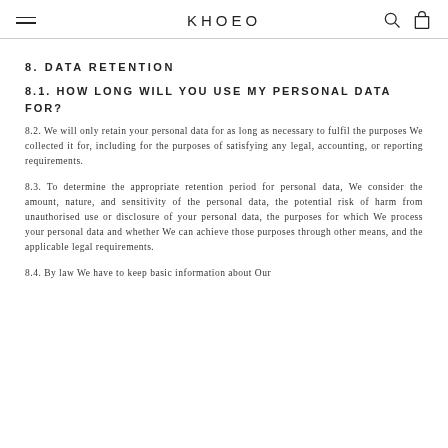KHOEO
8. DATA RETENTION
8.1. HOW LONG WILL YOU USE MY PERSONAL DATA FOR?
8.2. We will only retain your personal data for as long as necessary to fulfil the purposes We collected it for, including for the purposes of satisfying any legal, accounting, or reporting requirements.
8.3. To determine the appropriate retention period for personal data, We consider the amount, nature, and sensitivity of the personal data, the potential risk of harm from unauthorised use or disclosure of your personal data, the purposes for which We process your personal data and whether We can achieve those purposes through other means, and the applicable legal requirements.
8.4. By law We have to keep basic information about Our